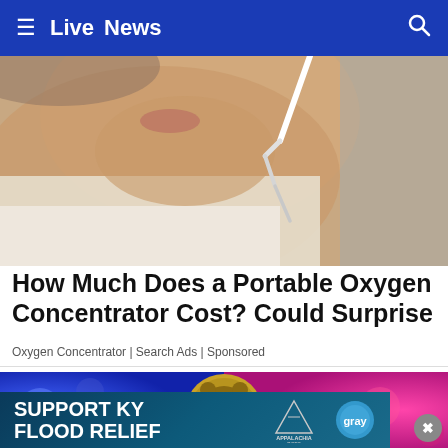≡  Live  News  🔍
[Figure (photo): Close-up photo of a person's lower face/chin profile near an oxygen nasal cannula tube, white lab coat visible]
How Much Does a Portable Oxygen Concentrator Cost? Could Surprise
Oxygen Concentrator | Search Ads | Sponsored
[Figure (photo): Alaska bear logo/seal centered on a bokeh background of blue and magenta/pink lights]
[Figure (infographic): Bottom banner ad: SUPPORT KY FLOOD RELIEF with Appalachia Rises mountain logo and Gray television logo]